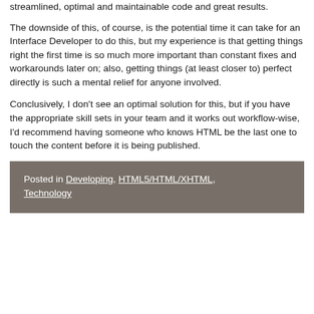streamlined, optimal and maintainable code and great results.
The downside of this, of course, is the potential time it can take for an Interface Developer to do this, but my experience is that getting things right the first time is so much more important than constant fixes and workarounds later on; also, getting things (at least closer to) perfect directly is such a mental relief for anyone involved.
Conclusively, I don't see an optimal solution for this, but if you have the appropriate skill sets in your team and it works out workflow-wise, I'd recommend having someone who knows HTML be the last one to touch the content before it is being published.
Posted in Developing, HTML5/HTML/XHTML, Technology